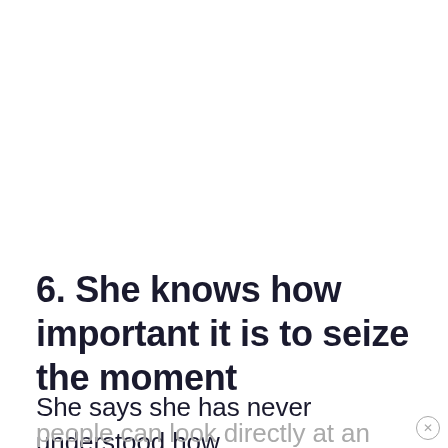6. She knows how important it is to seize the moment
She says she has never understood how
people can look directly at an opportunity